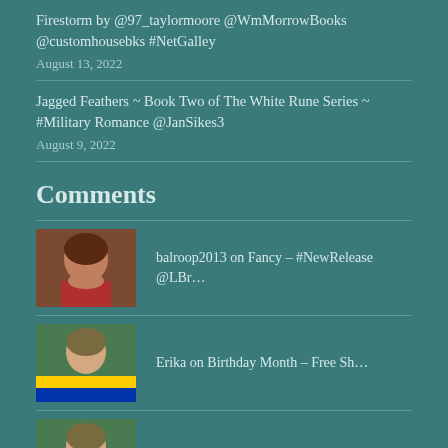Firestorm by @97_taylormoore @WmMorrowBooks @customhousebks #NetGalley
August 13, 2022
Jagged Feathers ~ Book Two of The White Rune Series ~ #Military Romance @JanSikes3
August 9, 2022
Comments
balroop2013 on Fancy – #NewRelease @LBr…
Erika on Birthday Month – Free Sh…
Erika on Fancy – #NewRelease @LBr…
bookjolicoe on…